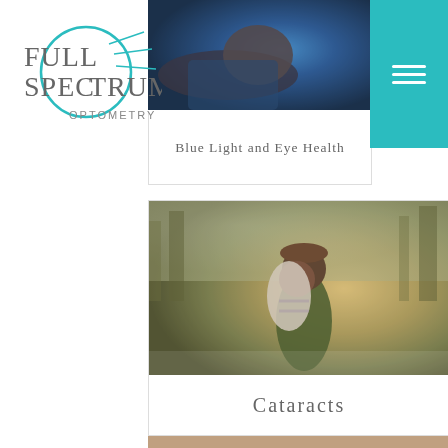[Figure (logo): Full Spectrum Optometry logo with teal circle and radiating lines]
[Figure (photo): Person lying down with blue light illuminating their face, viewed from above]
Blue Light and Eye Health
[Figure (photo): Two people outdoors in autumn, one giving the other a piggyback ride, both smiling]
Cataracts
[Figure (photo): Partial view of a third article card at bottom of page]